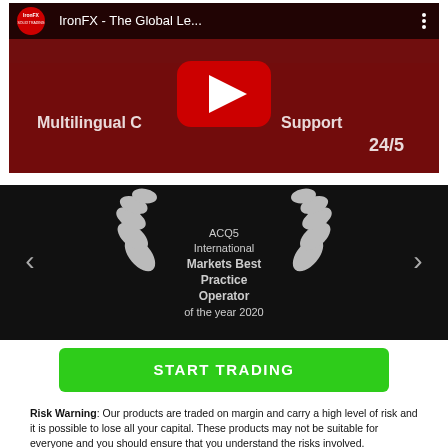[Figure (screenshot): YouTube video thumbnail for 'IronFX - The Global Le...' showing a play button overlay on a red-tinted image. The video title bar shows the IronFX logo and title with a menu icon. Text overlay reads 'Multilingual C... Support 24/5'.]
[Figure (infographic): Dark background section showing a silver laurel wreath award badge with text: ACQ5 International Markets Best Practice Operator of the year 2020. Navigation arrows (< and >) on left and right sides.]
START TRADING
Risk Warning: Our products are traded on margin and carry a high level of risk and it is possible to lose all your capital. These products may not be suitable for everyone and you should ensure that you understand the risks involved.